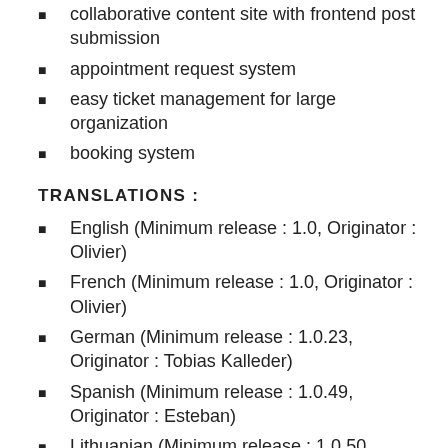collaborative content site with frontend post submission
appointment request system
easy ticket management for large organization
booking system
TRANSLATIONS :
English (Minimum release : 1.0, Originator : Olivier)
French (Minimum release : 1.0, Originator : Olivier)
German (Minimum release : 1.0.23, Originator : Tobias Kalleder)
Spanish (Minimum release : 1.0.49, Originator : Esteban)
Lithuanian (Minimum release : 1.0.50, Originator : Arturas)
Russian (Minimum release : 1.0.53, Originators : Alexey and Eugene)